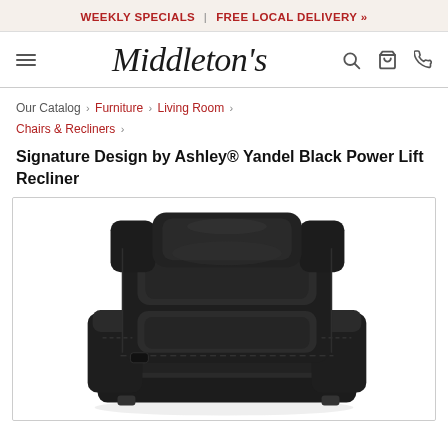WEEKLY SPECIALS | FREE LOCAL DELIVERY »
[Figure (logo): Middleton's furniture store logo with hamburger menu, search, cart, and phone icons]
Our Catalog › Furniture › Living Room › Chairs & Recliners ›
Signature Design by Ashley® Yandel Black Power Lift Recliner
[Figure (photo): A black leather power lift recliner chair (Signature Design by Ashley® Yandel Black Power Lift Recliner) photographed against a white background, showing the chair from a front-side angle with padded arms and headrest.]